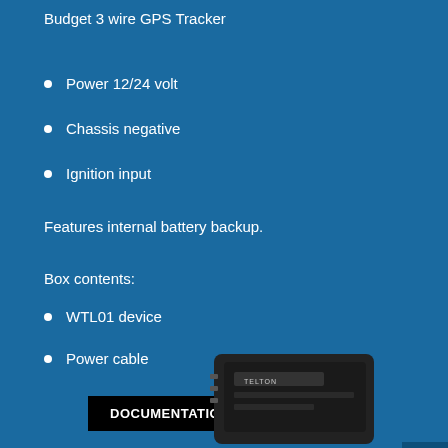Budget 3 wire GPS Tracker
Power 12/24 volt
Chassis negative
Ignition input
Features internal battery backup.
Box contents:
WTL01 device
Power cable
DOCUMENTATION
[Figure (photo): GPS tracker device (WTL01) shown partially at bottom of page, dark colored hardware unit with brand marking visible]